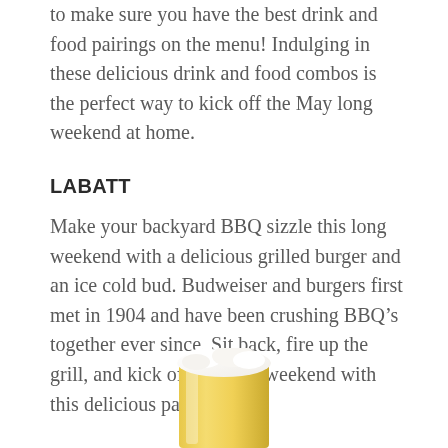to make sure you have the best drink and food pairings on the menu! Indulging in these delicious drink and food combos is the perfect way to kick off the May long weekend at home.
LABATT
Make your backyard BBQ sizzle this long weekend with a delicious grilled burger and an ice cold bud. Budweiser and burgers first met in 1904 and have been crushing BBQ’s together ever since. Sit back, fire up the grill, and kick off the long weekend with this delicious pairing.
[Figure (photo): A glass of cold beer with a foamy white head, partially visible at the bottom of the page.]